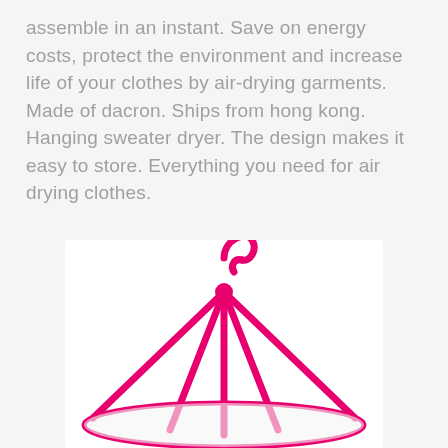assemble in an instant. Save on energy costs, protect the environment and increase life of your clothes by air-drying garments. Made of dacron. Ships from hong kong. Hanging sweater dryer. The design makes it easy to store. Everything you need for air drying clothes.
[Figure (illustration): Illustration of a hanging sweater dryer with a pink hook at the top and multiple pink support rods forming a cone/dome shape with a mesh net stretched across the bottom.]